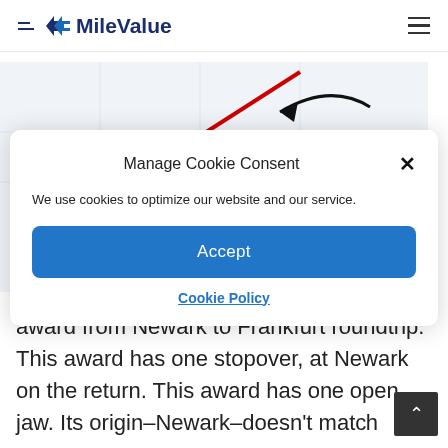MileValue
[Figure (map): Partial map screenshot showing annotations: a red arrow pointing to 'Los Angeles' label in red, a black curved arrow pointing left with text 'June, 2013: FRA -> EWR']
Manage Cookie Consent
We use cookies to optimize our website and our service.
Accept
Cookie Policy
award from Newark to Frankfurt roundtrip. This award has one stopover, at Newark on the return. This award has one open jaw. Its origin–Newark–doesn't match